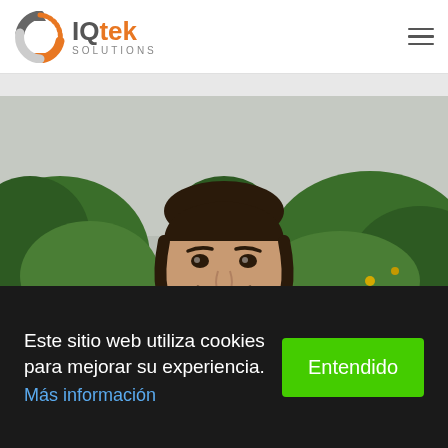[Figure (logo): IQtek Solutions logo with circular arrow icon in gray and orange, text 'IQtek' with 'SOLUTIONS' below]
[Figure (photo): Portrait photo of a smiling man with short dark hair and beard, wearing a white shirt, with green plants and a concrete wall in the background]
Este sitio web utiliza cookies para mejorar su experiencia.
Más información
Entendido